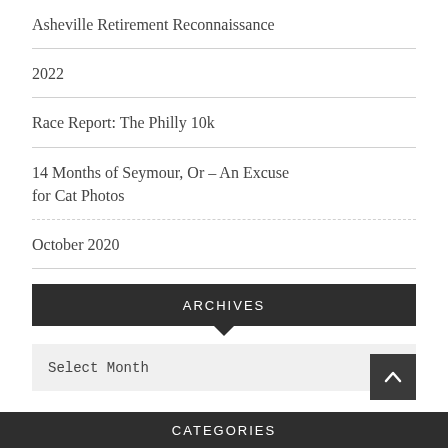Asheville Retirement Reconnaissance
2022
Race Report: The Philly 10k
14 Months of Seymour, Or – An Excuse for Cat Photos
October 2020
ARCHIVES
Select Month
CATEGORIES